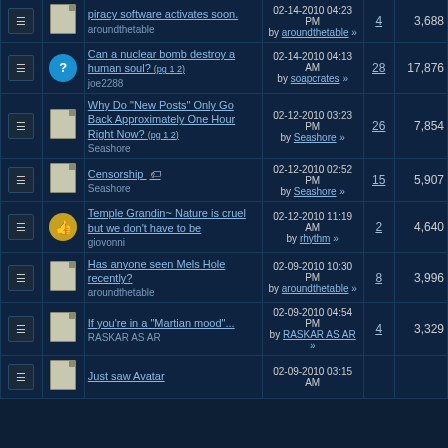|  |  | Topic | Last Post | Replies | Views |
| --- | --- | --- | --- | --- | --- |
|  |  | piracy software activates soon. / aroundthetable | 02-14-2010 04:23 PM by aroundthetable | 4 | 3,688 |
|  | ? | Can a nuclear bomb destroy a human soul? (pg 1 2) / joe2288 | 02-14-2010 04:13 AM by soapcrates | 28 | 17,876 |
|  |  | Why Do "New Posts" Only Go Back Approximately One Hour Right Now? (pg 1 2) / Seashore | 02-12-2010 03:23 PM by Seashore | 26 | 7,854 |
|  |  | Censorship / Seashore | 02-12-2010 02:52 PM by Seashore | 15 | 5,907 |
|  | thumb | Temple Grandin~ Nature is cruel but we don't have to be / giovonni | 02-12-2010 11:19 AM by rhythm | 2 | 4,640 |
|  |  | Has anyone seen Mels Hole recently? / aroundthetable | 02-09-2010 10:30 PM by aroundthetable | 8 | 3,996 |
|  |  | If you're in a "Martian mood"... / RASKAR AS AR | 02-09-2010 04:54 PM by RASKAR AS AR | 4 | 3,329 |
|  |  | Just saw Avatar (...)  | 02-09-2010 03:15 AM |  |  |